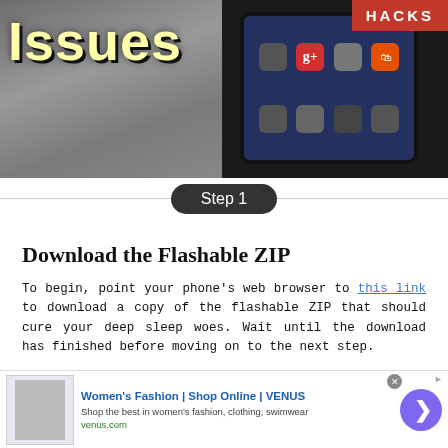[Figure (screenshot): Top banner image showing 'Issues' text on textured background on left, and Android phone screen with apps on right, with a red HACKS badge in top-right corner]
Step 1
Download the Flashable ZIP
To begin, point your phone's web browser to this link to download a copy of the flashable ZIP that should cure your deep sleep woes. Wait until the download has finished before moving on to the next step.
[Figure (screenshot): Two side-by-side Android phone screenshots showing time 2:05 PM and 2:03 PM on Thu, April 30, with teal/cyan status bar and notification icons]
[Figure (other): Advertisement banner for Women's Fashion Shop Online VENUS with thumbnail, text, and arrow button]